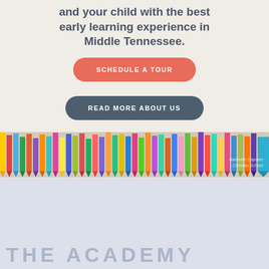and your child with the best early learning experience in Middle Tennessee.
SCHEDULE A TOUR
READ MORE ABOUT US
[Figure (photo): A row of colorful pencils arranged tips-up, filling the lower portion of the hero image area. A watermark reads 'Nashville Daycare Christian School' in light text.]
THE ACADEMY